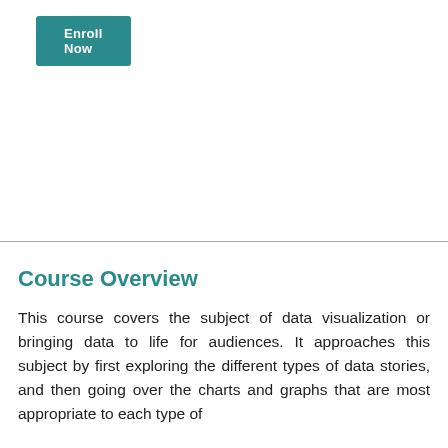[Figure (other): Teal/green 'Enroll Now' button at top left of the page]
Course Overview
This course covers the subject of data visualization or bringing data to life for audiences. It approaches this subject by first exploring the different types of data stories, and then going over the charts and graphs that are most appropriate to each type of